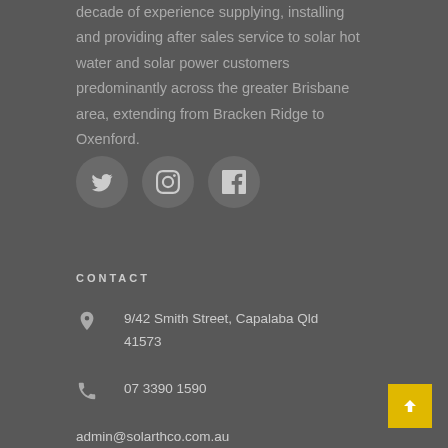decade of experience supplying, installing and providing after sales service to solar hot water and solar power customers predominantly across the greater Brisbane area, extending from Bracken Ridge to Oxenford.
[Figure (illustration): Three social media icon circles: Twitter, Instagram, Facebook]
CONTACT
9/42 Smith Street, Capalaba Qld 41573
07 3390 1590
admin@solarthco.com.au